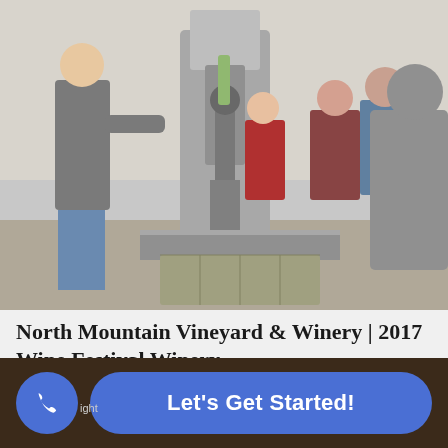[Figure (photo): People working around industrial bottling/canning equipment in a winery setting. A person in a gray jacket on the left is operating the machine, others in red and blue jackets stand in the background near the stainless steel equipment.]
North Mountain Vineyard & Winery | 2017 Wine Festival Winery
July 20, 2017
Willkommen! Discover award winning wines, exceptional mountain...
Let's Get Started!